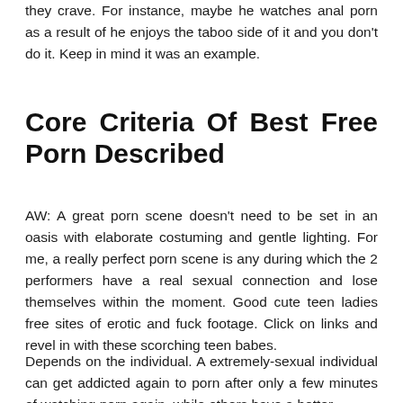they crave. For instance, maybe he watches anal porn as a result of he enjoys the taboo side of it and you don't do it. Keep in mind it was an example.
Core Criteria Of Best Free Porn Described
AW: A great porn scene doesn't need to be set in an oasis with elaborate costuming and gentle lighting. For me, a really perfect porn scene is any during which the 2 performers have a real sexual connection and lose themselves within the moment. Good cute teen ladies free sites of erotic and fuck footage. Click on links and revel in with these scorching teen babes.
Depends on the individual. A extremely-sexual individual can get addicted again to porn after only a few minutes of watching porn again, while others have a better